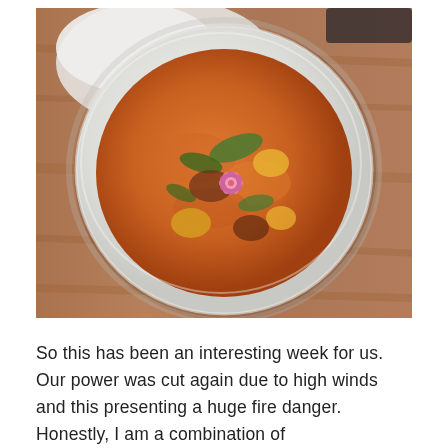[Figure (photo): Top-down photograph of a white ceramic bowl containing an orange-colored soup or stew with vegetables including green herbs, yellow pieces, and a pink flower garnish, placed on a wooden table surface with a white cloth napkin in the background.]
So this has been an interesting week for us. Our power was cut again due to high winds and this presenting a huge fire danger. Honestly, I am a combination of